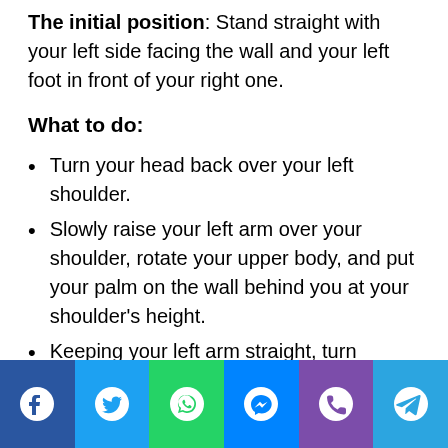The initial position: Stand straight with your left side facing the wall and your left foot in front of your right one.
What to do:
Turn your head back over your left shoulder.
Slowly raise your left arm over your shoulder, rotate your upper body, and put your palm on the wall behind you at your shoulder's height.
Keeping your left arm straight, turn